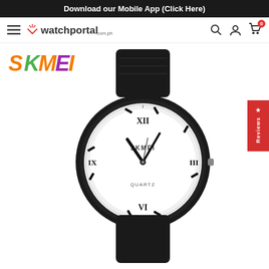Download our Mobile App (Click Here)
[Figure (logo): watchportal.com.ph navigation bar with hamburger menu, logo, search icon, user icon, and cart icon with badge 0]
[Figure (logo): SKMEI brand logo in orange, green, and purple gradient colors]
[Figure (photo): SKMEI Quartz analog watch with black rubber strap, black case, white textured dial with Roman numerals (XII, III, VI, IX), black hour and minute hands, and SKMEI QUARTZ text on dial]
★ Reviews